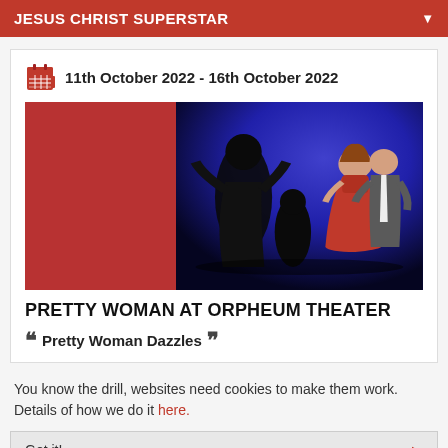JESUS CHRIST SUPERSTAR
11th October 2022 - 16th October 2022
[Figure (photo): Stage performance photo showing silhouetted dancers in the background and a woman in a red gown embracing a man in a suit in the foreground, against a deep blue stage background. Left portion is a solid dark red/maroon color block.]
PRETTY WOMAN AT ORPHEUM THEATER
“ Pretty Woman Dazzles ”
You know the drill, websites need cookies to make them work. Details of how we do it here.
Got it!